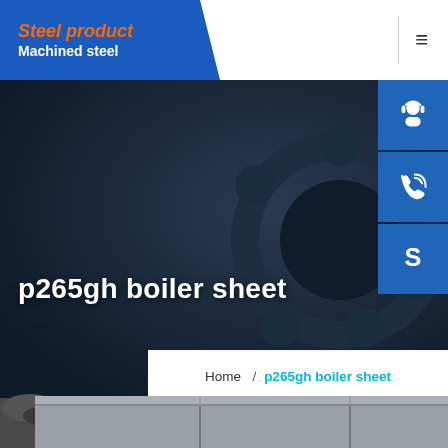Steel product / Machined steel
[Figure (photo): Dark industrial background with machinery gears/bolts, used as hero banner]
p265gh boiler sheet
Home / p265gh boiler sheet
[Figure (photo): Steel plates/sheets shown at bottom of page with scrap metal visible on left]